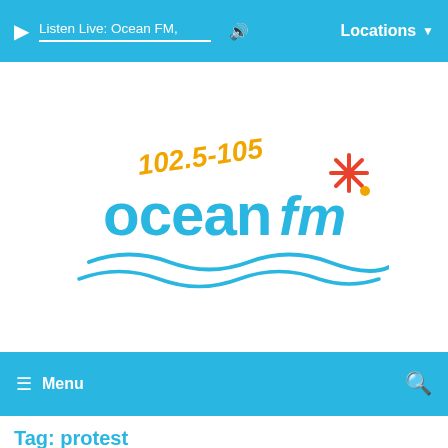Listen Live: Ocean FM,  | Locations
[Figure (logo): Ocean FM logo with frequency 102.5-105, text 'ocean fm' in blue with orange/yellow frequency numbers and a red asterisk/star decoration with wave lines underneath]
≡ Menu
Tag: protest